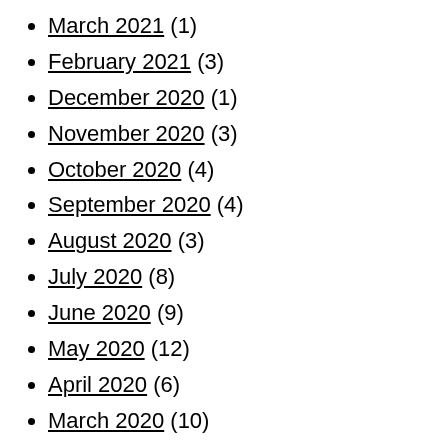March 2021 (1)
February 2021 (3)
December 2020 (1)
November 2020 (3)
October 2020 (4)
September 2020 (4)
August 2020 (3)
July 2020 (8)
June 2020 (9)
May 2020 (12)
April 2020 (6)
March 2020 (10)
February 2020 (4)
January 2020 (14)
December 2019 (8)
November 2019 (12)